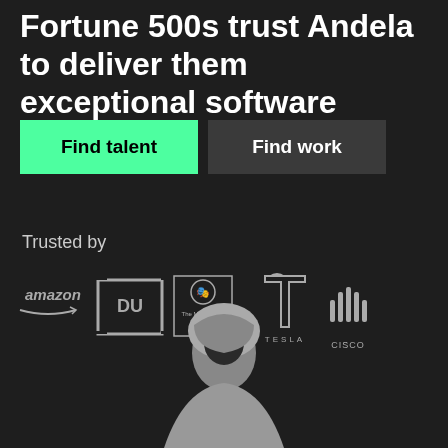Fortune 500s trust Andela to deliver them exceptional software engineers.
Find talent
Find work
Trusted by
[Figure (logo): Logos of Amazon, DU, The Motley Fool, Tesla, Cisco]
[Figure (photo): Person wearing a gray hoodie, partially visible at bottom of page]